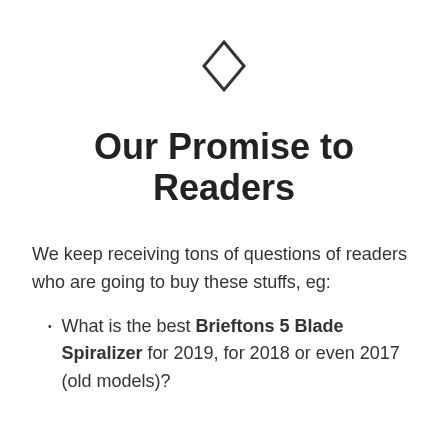[Figure (illustration): A small diamond/rhombus outline icon centered on the page]
Our Promise to Readers
We keep receiving tons of questions of readers who are going to buy these stuffs, eg:
What is the best Brieftons 5 Blade Spiralizer for 2019, for 2018 or even 2017 (old models)?